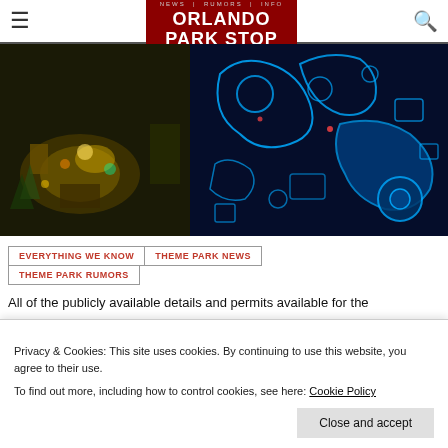Orlando Park Stop
[Figure (photo): Aerial theme park concept art combined with blueprint overlay map showing park layout with blue glowing outlines on dark background]
EVERYTHING WE KNOW | THEME PARK NEWS | THEME PARK RUMORS
Privacy & Cookies: This site uses cookies. By continuing to use this website, you agree to their use. To find out more, including how to control cookies, see here: Cookie Policy
All of the publicly available details and permits available for the